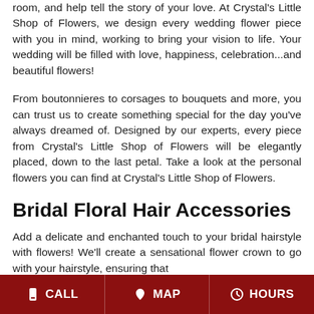room, and help tell the story of your love. At Crystal's Little Shop of Flowers, we design every wedding flower piece with you in mind, working to bring your vision to life. Your wedding will be filled with love, happiness, celebration...and beautiful flowers!
From boutonnieres to corsages to bouquets and more, you can trust us to create something special for the day you've always dreamed of. Designed by our experts, every piece from Crystal's Little Shop of Flowers will be elegantly placed, down to the last petal. Take a look at the personal flowers you can find at Crystal's Little Shop of Flowers.
Bridal Floral Hair Accessories
Add a delicate and enchanted touch to your bridal hairstyle with flowers! We'll create a sensational flower crown to go with your hairstyle, ensuring that
CALL   MAP   HOURS